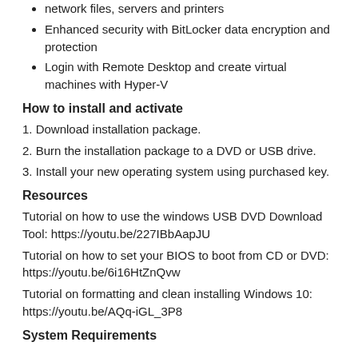network files, servers and printers
Enhanced security with BitLocker data encryption and protection
Login with Remote Desktop and create virtual machines with Hyper-V
How to install and activate
1. Download installation package.
2. Burn the installation package to a DVD or USB drive.
3. Install your new operating system using purchased key.
Resources
Tutorial on how to use the windows USB DVD Download Tool: https://youtu.be/227IBbAapJU
Tutorial on how to set your BIOS to boot from CD or DVD: https://youtu.be/6i16HtZnQvw
Tutorial on formatting and clean installing Windows 10: https://youtu.be/AQq-iGL_3P8
System Requirements